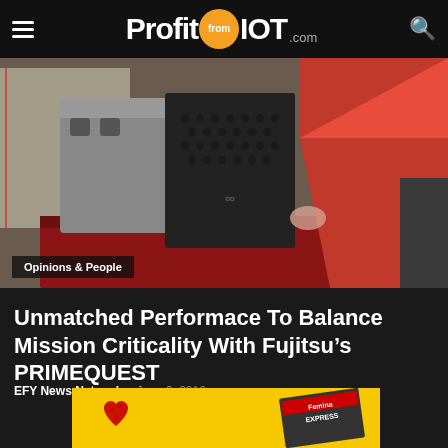ProfitfromIOT.com
[Figure (photo): A person in red dress standing next to a Fujitsu PRIMEQUEST server on a table with a red tablecloth, at an event venue]
Opinions & People
Unmatched Performace To Balance Mission Criticality With Fujitsu’s PRIMEQUEST
EFY News Network  -  June 6, 2016
[Figure (photo): Advertisement banner with yellow background, a red heart graphic, and Femina Express text on the right]